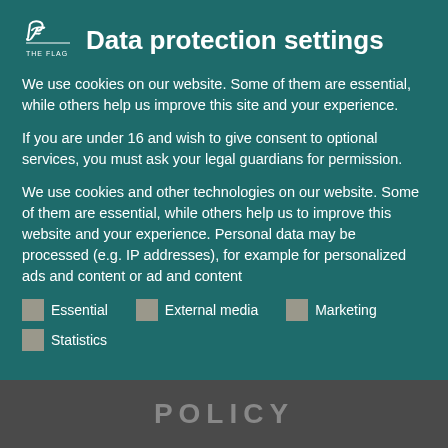Data protection settings
We use cookies on our website. Some of them are essential, while others help us improve this site and your experience.
If you are under 16 and wish to give consent to optional services, you must ask your legal guardians for permission.
We use cookies and other technologies on our website. Some of them are essential, while others help us to improve this website and your experience. Personal data may be processed (e.g. IP addresses), for example for personalized ads and content or ad and content
Essential
External media
Marketing
Statistics
POLICY